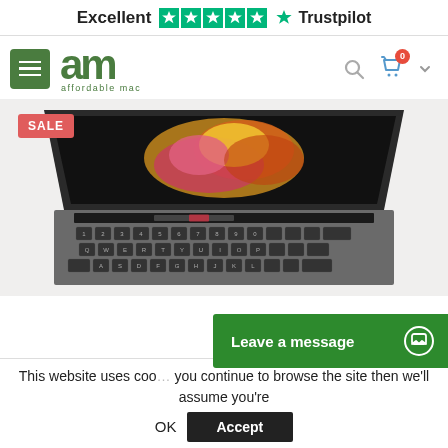[Figure (logo): Trustpilot rating bar showing 'Excellent' with 5 green stars and Trustpilot logo]
[Figure (logo): Affordable Mac logo with hamburger menu, green 'am' text logo, search icon, cart icon with 0 badge, and chevron]
[Figure (photo): MacBook Pro laptop with colorful wallpaper shown from above at an angle, keyboard visible, with red SALE badge in top-left corner]
This website uses coo… you continue to browse the site then we'll assume you're
Leave a message
OK
Accept